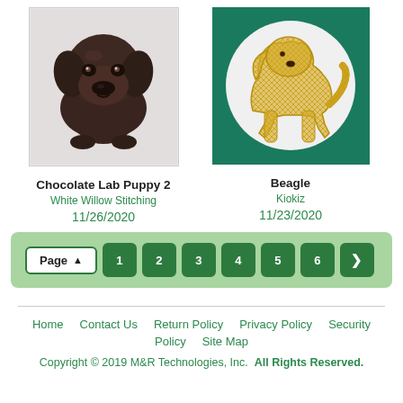[Figure (photo): Chocolate Labrador puppy photo, close-up face, dark brown fur, on light gray background]
[Figure (illustration): Beagle dog silhouette in gold/yellow cross-stitch pattern on white circle, teal/dark green square background]
Chocolate Lab Puppy 2
White Willow Stitching
11/26/2020
Beagle
Kiokiz
11/23/2020
[Figure (screenshot): Pagination bar with Page button and numbered buttons 1-6 plus next arrow, on light green background]
Home    Contact Us    Return Policy    Privacy Policy    Security Policy    Site Map
Copyright © 2019 M&R Technologies, Inc.  All Rights Reserved.